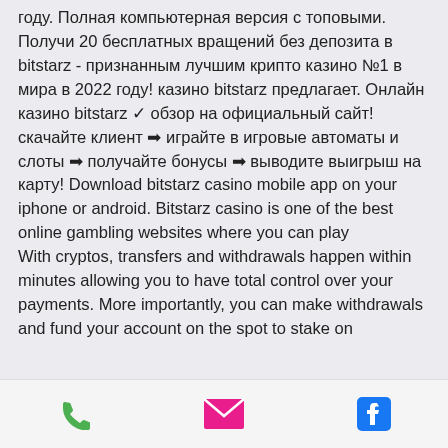году. Полная компьютерная версия с топовыми. Получи 20 бесплатных вращений без депозита в bitstarz - признанным лучшим крипто казино №1 в мира в 2022 году! казино bitstarz предлагает. Онлайн казино bitstarz ✓ обзор на официальный сайт! скачайте клиент ➡ играйте в игровые автоматы и слоты ➡ получайте бонусы ➡ выводите выигрыш на карту! Download bitstarz casino mobile app on your iphone or android. Bitstarz casino is one of the best online gambling websites where you can play
With cryptos, transfers and withdrawals happen within minutes allowing you to have total control over your payments. More importantly, you can make withdrawals and fund your account on the spot to stake on
phone | email | facebook